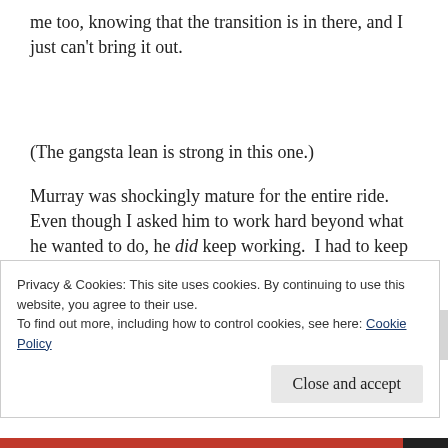me too, knowing that the transition is in there, and I just can't bring it out.
(The gangsta lean is strong in this one.)
Murray was shockingly mature for the entire ride. Even though I asked him to work hard beyond what he wanted to do, he did keep working.  I had to keep working too — when I slacked off for a minute
Privacy & Cookies: This site uses cookies. By continuing to use this website, you agree to their use.
To find out more, including how to control cookies, see here: Cookie Policy